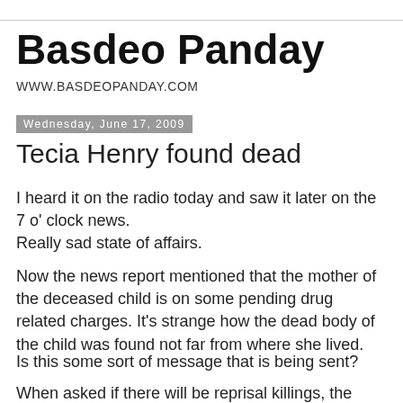Basdeo Panday
WWW.BASDEOPANDAY.COM
Wednesday, June 17, 2009
Tecia Henry found dead
I heard it on the radio today and saw it later on the 7 o' clock news.
Really sad state of affairs.
Now the news report mentioned that the mother of the deceased child is on some pending drug related charges. It's strange how the dead body of the child was found not far from where she lived.
Is this some sort of message that is being sent?
When asked if there will be reprisal killings, the father of the